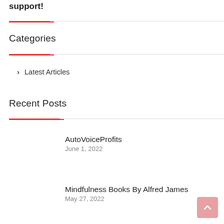…you for your support!
Categories
Latest Articles
Recent Posts
AutoVoiceProfits
June 1, 2022
Mindfulness Books By Alfred James
May 27, 2022